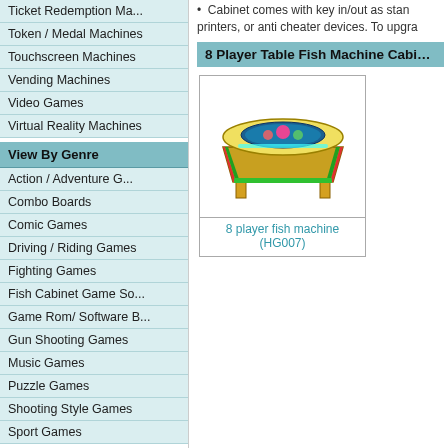Ticket Redemption Ma...
Token / Medal Machines
Touchscreen Machines
Vending Machines
Video Games
Virtual Reality Machines
View By Genre
Action / Adventure G...
Combo Boards
Comic Games
Driving / Riding Games
Fighting Games
Fish Cabinet Game So...
Game Rom/ Software B...
Gun Shooting Games
Music Games
Puzzle Games
Shooting Style Games
Sport Games
View By Price Range
$0-999 USD
$1000-1999 USD
$2000-4999 USD
Cabinet comes with key in/out as standard, no bill acceptors, printers, or anti cheater devices. To upgra...
8 Player Table Fish Machine Cabinet (H...
[Figure (photo): 8 player fish machine arcade cabinet (HG007) - colorful table-style fish game machine]
8 player fish machine (HG007)